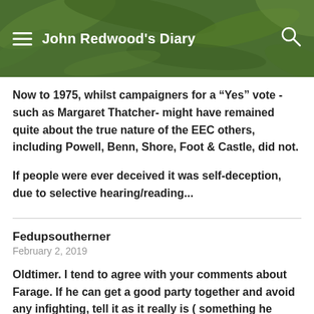John Redwood's Diary
Now to 1975, whilst campaigners for a “Yes” vote -such as Margaret Thatcher- might have remained quite about the true nature of the EEC others, including Powell, Benn, Shore, Foot & Castle, did not.
If people were ever deceived it was self-deception, due to selective hearing/reading...
Fedupsoutherner
February 2, 2019
Oldtimer. I tend to agree with your comments about Farage. If he can get a good party together and avoid any infighting, tell it as it really is ( something he excels at) then his party will